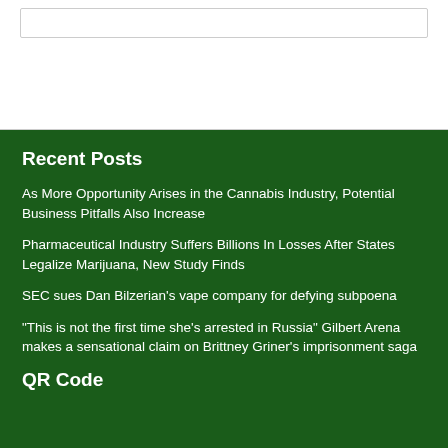Recent Posts
As More Opportunity Arises in the Cannabis Industry, Potential Business Pitfalls Also Increase
Pharmaceutical Industry Suffers Billions In Losses After States Legalize Marijuana, New Study Finds
SEC sues Dan Bilzerian's vape company for defying subpoena
“This is not the first time she’s arrested in Russia” Gilbert Arena makes a sensational claim on Brittney Griner’s imprisonment saga
QR Code